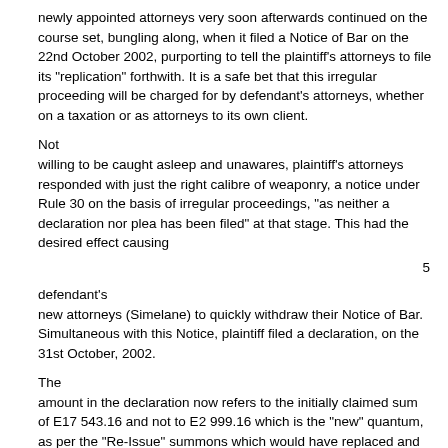newly appointed attorneys very soon afterwards continued on the course set, bungling along, when it filed a Notice of Bar on the 22nd October 2002, purporting to tell the plaintiff's attorneys to file its "replication" forthwith. It is a safe bet that this irregular proceeding will be charged for by defendant's attorneys, whether on a taxation or as attorneys to its own client.
Not willing to be caught asleep and unawares, plaintiff's attorneys responded with just the right calibre of weaponry, a notice under Rule 30 on the basis of irregular proceedings, "as neither a declaration nor plea has been filed" at that stage. This had the desired effect causing
5
defendant's new attorneys (Simelane) to quickly withdraw their Notice of Bar. Simultaneous with this Notice, plaintiff filed a declaration, on the 31st October, 2002.
The amount in the declaration now refers to the initially claimed sum of E17 543.16 and not to E2 999.16 which is the "new" quantum, as per the "Re-Issue" summons which would have replaced and substituted the first summons. This new perspective, which is supported by diverse documents annexed to it, clarifies the matter to the extent that it now reads that "liters (sic) of paraffin to the value of E17 543.16" was "orally (sic) sold and delivered" to the defendant, payable thirty days after delivery.